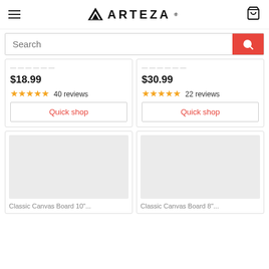ARTEZA - Navigation header with hamburger menu, logo, and cart icon
Search
$18.99 ★★★★★ 40 reviews
Quick shop
$30.99 ★★★★★ 22 reviews
Quick shop
[Figure (screenshot): Bottom-left product card with grey placeholder image and partial title 'Classic Canvas Board 10"...']
[Figure (screenshot): Bottom-right product card with grey placeholder image and partial title 'Classic Canvas Board 8"...']